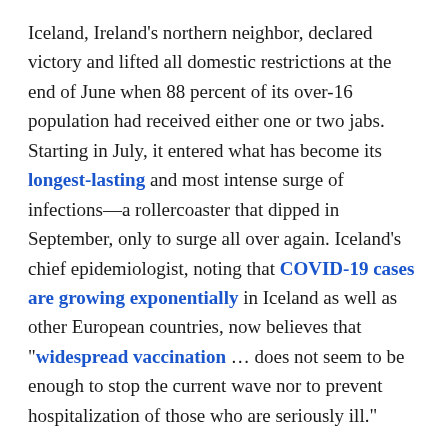Iceland, Ireland's northern neighbor, declared victory and lifted all domestic restrictions at the end of June when 88 percent of its over-16 population had received either one or two jabs. Starting in July, it entered what has become its longest-lasting and most intense surge of infections—a rollercoaster that dipped in September, only to surge all over again. Iceland's chief epidemiologist, noting that COVID-19 cases are growing exponentially in Iceland as well as other European countries, now believes that "widespread vaccination … does not seem to be enough to stop the current wave nor to prevent hospitalization of those who are seriously ill."
New Zealand, where 89 percent have received at least one dose and 77 percent are fully vaccinated, is in the midst of its greatest surge of infections at the same time as it accelerates vaccinations. Australia is experiencing